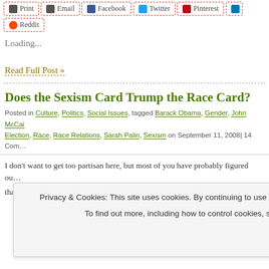[Figure (screenshot): Social share buttons: Print, Email, Facebook, Twitter, Pinterest, and a partially visible button on the right edge]
[Figure (screenshot): Reddit share button]
Loading...
Read Full Post »
Does the Sexism Card Trump the Race Card?
Posted in Culture, Politics, Social Issues, tagged Barack Obama, Gender, John McCai… Election, Race, Race Relations, Sarah Palin, Sexism on September 11, 2008| 14 Com…
I don't want to get too partisan here, but most of you have probably figured ou… thi… at… ec… d f… ver… rel…
that his candidacy highlights and stirs up.
Privacy & Cookies: This site uses cookies. By continuing to use this website, you agree to their use.
To find out more, including how to control cookies, see here: Cookie Policy
Close and accept